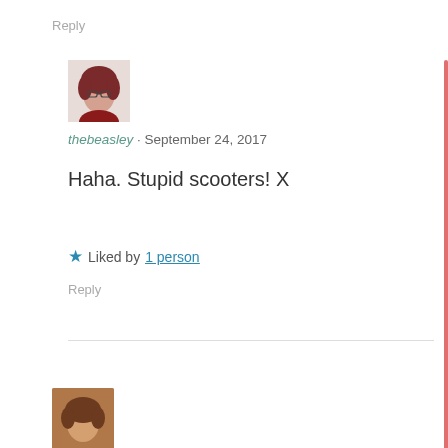Reply
[Figure (photo): Avatar photo of user thebeasley — woman with curly reddish-brown hair]
thebeasley · September 24, 2017
Haha. Stupid scooters! X
★ Liked by 1 person
Reply
[Figure (photo): Partial avatar photo of another user — woman with brown hair]